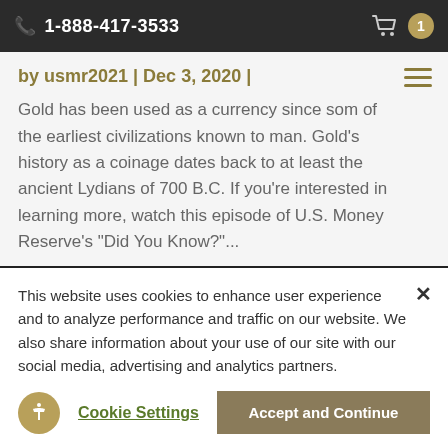1-888-417-3533
by usmr2021 | Dec 3, 2020 |
Gold has been used as a currency since some of the earliest civilizations known to man. Gold's history as a coinage dates back to at least the ancient Lydians of 700 B.C. If you're interested in learning more, watch this episode of U.S. Money Reserve's "Did You Know?"...
READ MORE
This website uses cookies to enhance user experience and to analyze performance and traffic on our website. We also share information about your use of our site with our social media, advertising and analytics partners.
Cookie Settings
Accept and Continue